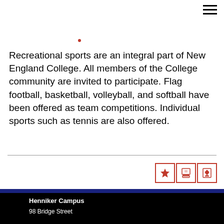Recreational sports are an integral part of New England College. All members of the College community are invited to participate. Flag football, basketball, volleyball, and softball have been offered as team competitions. Individual sports such as tennis are also offered.
Henniker Campus
98 Bridge Street